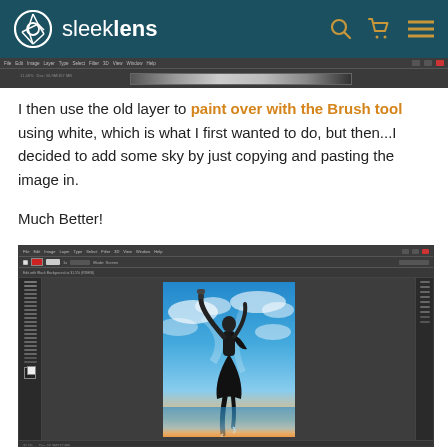sleeklens — website header with logo and navigation icons
[Figure (screenshot): Partial screenshot of Photoshop interface showing top portion of a photo editing session with dark background]
I then use the old layer to paint over with the Brush tool using white, which is what I first wanted to do, but then...I decided to add some sky by just copying and pasting the image in.
Much Better!
[Figure (screenshot): Screenshot of Adobe Photoshop interface showing a dancer in a black dress leaping against a colorful blue and orange sky background, with the Photoshop toolbar and panels visible]